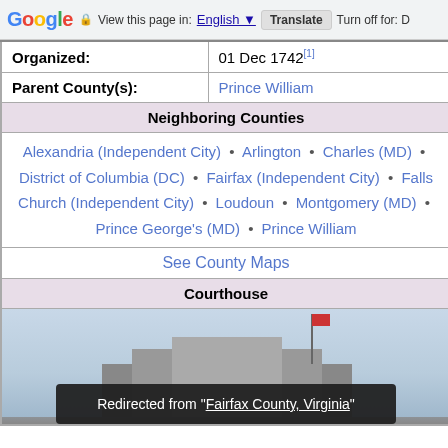Google | View this page in: English | Translate | Turn off for: D
| Organized: | 01 Dec 1742[1] |
| Parent County(s): | Prince William |
| Neighboring Counties |  |
| Alexandria (Independent City) • Arlington • Charles (MD) • District of Columbia (DC) • Fairfax (Independent City) • Falls Church (Independent City) • Loudoun • Montgomery (MD) • Prince George's (MD) • Prince William
See County Maps |  |
| Courthouse |  |
[Figure (photo): Courthouse building photograph, partially visible with sky background]
Redirected from "Fairfax County, Virginia"